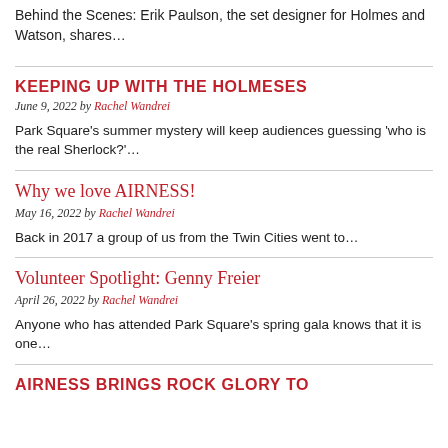Behind the Scenes: Erik Paulson, the set designer for Holmes and Watson, shares…
KEEPING UP WITH THE HOLMESES
June 9, 2022 by Rachel Wandrei
Park Square's summer mystery will keep audiences guessing 'who is the real Sherlock?'…
Why we love AIRNESS!
May 16, 2022 by Rachel Wandrei
Back in 2017 a group of us from the Twin Cities went to…
Volunteer Spotlight: Genny Freier
April 26, 2022 by Rachel Wandrei
Anyone who has attended Park Square's spring gala knows that it is one…
AIRNESS BRINGS ROCK GLORY TO